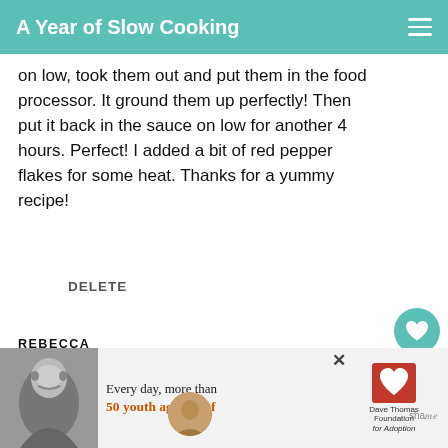A Year of Slow Cooking
on low, took them out and put them in the food processor. It ground them up perfectly! Then put it back in the sauce on low for another 4 hours. Perfect! I added a bit of red pepper flakes for some heat. Thanks for a yummy recipe!
DELETE
1
REBECCA
5/04/2010
This recipe saved me yesterday. I was supposed to have a new stove installed by
[Figure (infographic): WHAT'S NEXT arrow label with Chicken Nachos... text and food photo thumbnail]
[Figure (infographic): Advertisement banner: Every day, more than 50 youth age out of ... Dave Thomas Foundation for Adoption logo, with photo of young woman and X close button]